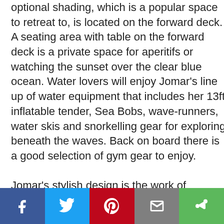optional shading, which is a popular space to retreat to, is located on the forward deck. A seating area with table on the forward deck is a private space for aperitifs or watching the sunset over the clear blue ocean. Water lovers will enjoy Jomar's line up of water equipment that includes her 13ft inflatable tender, Sea Bobs, wave-runners, water skis and snorkelling gear for exploring beneath the waves. Back on board there is a good selection of gym gear to enjoy.

Jomar's stylish design is the work of Stefano Righini, with the elegant main salon a focal point for guests to gather in
[Figure (other): Social sharing bar with five buttons: Facebook (dark blue), Twitter (light blue), Pinterest (red), Email (grey), Share (green)]